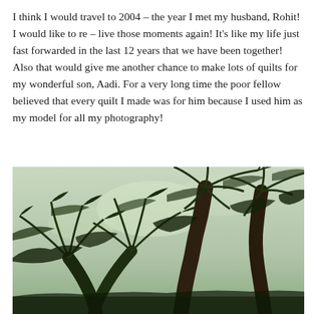I think I would travel to 2004 – the year I met my husband, Rohit! I would like to re – live those moments again! It's like my life just fast forwarded in the last 12 years that we have been together! Also that would give me another chance to make lots of quilts for my wonderful son, Aadi. For a very long time the poor fellow believed that every quilt I made was for him because I used him as my model for all my photography!
[Figure (photo): Photograph of palm trees viewed from below against a bright sky, showing the fronds and trunks of several coconut palm trees in a tropical setting.]